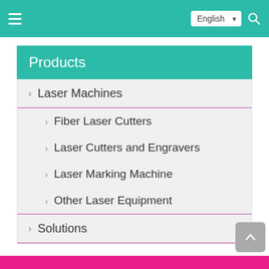English  [dropdown]  [search icon]
Products
> Laser Machines
> Fiber Laser Cutters
> Laser Cutters and Engravers
> Laser Marking Machine
> Other Laser Equipment
> Solutions